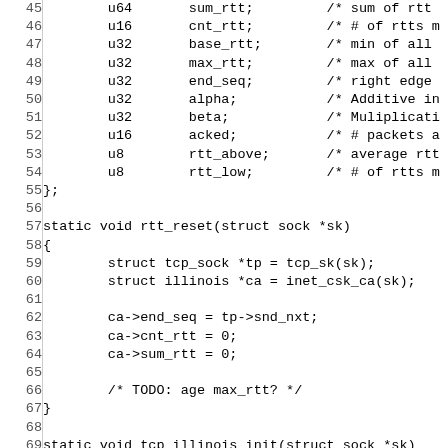[Figure (screenshot): Source code listing (C) showing lines 45-74 of a TCP Illinois congestion control implementation. Lines include struct field declarations (u64 sum_rtt, u16 cnt_rtt, u32 base_rtt, max_rtt, end_seq, alpha, beta, u16 acked, u8 rtt_above, rtt_low), closing brace of struct, rtt_reset function, and beginning of tcp_illinois_init function.]